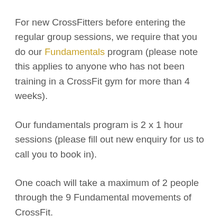For new CrossFitters before entering the regular group sessions, we require that you do our Fundamentals program (please note this applies to anyone who has not been training in a CrossFit gym for more than 4 weeks).
Our fundamentals program is 2 x 1 hour sessions (please fill out new enquiry for us to call you to book in).
One coach will take a maximum of 2 people through the 9 Fundamental movements of CrossFit.
Following these 2 sessions you will feel confident to then enter into the main